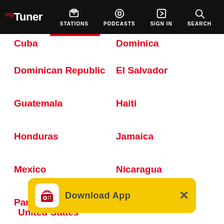myTuner — STATIONS | PODCASTS | SIGN IN | SEARCH
Dominican Republic
El Salvador
Guatemala
Haiti
Honduras
Jamaica
Mexico
Nicaragua
Panama
Puerto Rico
Saint ... Tobago
United States
[Figure (screenshot): Download App banner with yellow background, app icon, text 'Download App', and close X button]